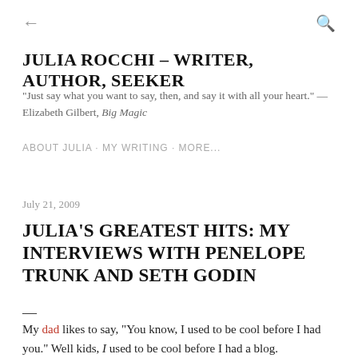← (back) | (search icon)
JULIA ROCCHI – WRITER, AUTHOR, SEEKER
"Just say what you want to say, then, and say it with all your heart." — Elizabeth Gilbert, Big Magic
ABOUT JULIA · MY WRITING · MORE...
July 21, 2009
JULIA'S GREATEST HITS: MY INTERVIEWS WITH PENELOPE TRUNK AND SETH GODIN
My dad likes to say, "You know, I used to be cool before I had you." Well kids, I used to be cool before I had a blog.